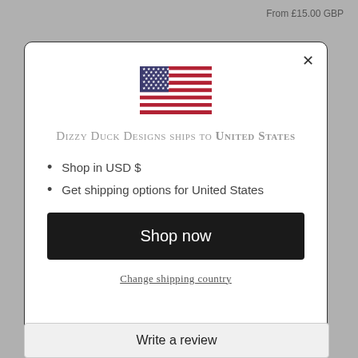From £15.00 GBP
[Figure (illustration): US flag SVG illustration centered in modal dialog]
Dizzy Duck Designs ships to United States
Shop in USD $
Get shipping options for United States
Shop now
Change shipping country
Write a review